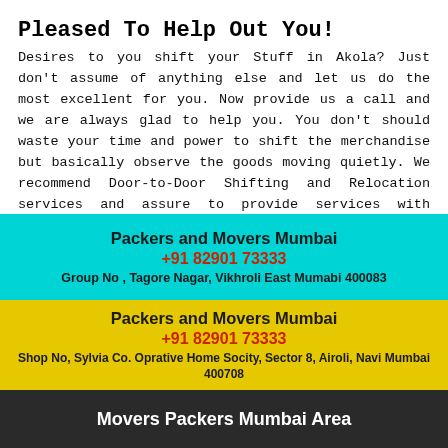Pleased To Help Out You!
Desires to you shift your Stuff in Akola? Just don't assume of anything else and let us do the most excellent for you. Now provide us a call and we are always glad to help you. You don't should waste your time and power to shift the merchandise but basically observe the goods moving quietly. We recommend Door-to-Door Shifting and Relocation services and assure to provide services with honesty and advanced quality. Our online directions and instructions are surely capable of help you better understand your relocation method. We provide only the best moving and shifting quotes for all of your relocation wants.
Note: We are not advancing any Moving and Packing organization. We are a free online site in the name of great "Movers Packers" organizations and helping you get free rates of great administration suppliers.
Packers and Movers Mumbai
+91 82901 73333
Group No , Tagore Nagar, Vikhroli East Mumabi 400083
Packers and Movers Mumbai
+91 82901 73333
Shop No, Sylvia Co. Oprative Home Socity, Sector 8, Airoli, Navi Mumbai 400708
Movers Packers Mumbai Area